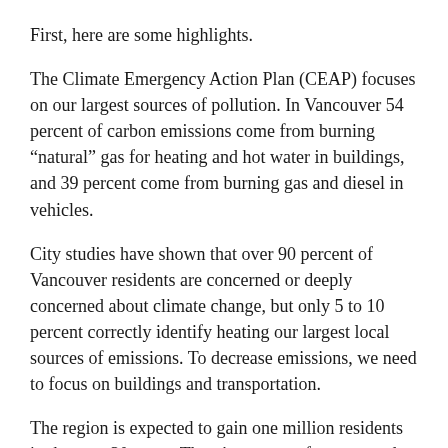First, here are some highlights.
The Climate Emergency Action Plan (CEAP) focuses on our largest sources of pollution. In Vancouver 54 percent of carbon emissions come from burning “natural” gas for heating and hot water in buildings, and 39 percent come from burning gas and diesel in vehicles.
City studies have shown that over 90 percent of Vancouver residents are concerned or deeply concerned about climate change, but only 5 to 10 percent correctly identify heating our largest local sources of emissions. To decrease emissions, we need to focus on buildings and transportation.
The region is expected to gain one million residents in the next 30 years. There’s no space for new roads, so we need to figure out how more people and goods can move around with more efficient use of space. Fewer private vehicles, more public transit, walking and rolling.